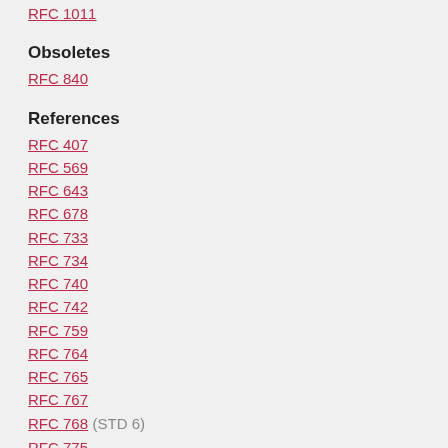RFC 1011
Obsoletes
RFC 840
References
RFC 407
RFC 569
RFC 643
RFC 678
RFC 733
RFC 734
RFC 740
RFC 742
RFC 759
RFC 764
RFC 765
RFC 767
RFC 768 (STD 6)
RFC 775
RFC 778
RFC 783
RFC 788